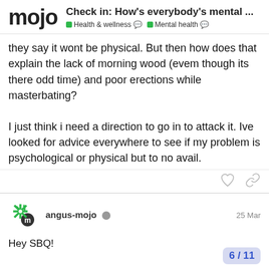mojo — Check in: How's everybody's mental … | Health & wellness | Mental health
they say it wont be physical. But then how does that explain the lack of morning wood (evem though its there odd time) and poor erections while masterbating?

I just think i need a direction to go in to attack it. Ive looked for advice everywhere to see if my problem is psychological or physical but to no avail.
angus-mojo  25 Mar

Hey SBQ!

We really want to support you however we can. If you aren't seeing the gains from Mojo and getting the most value from it we would love to jump o there is anything we can do. Maybe cc
6 / 11